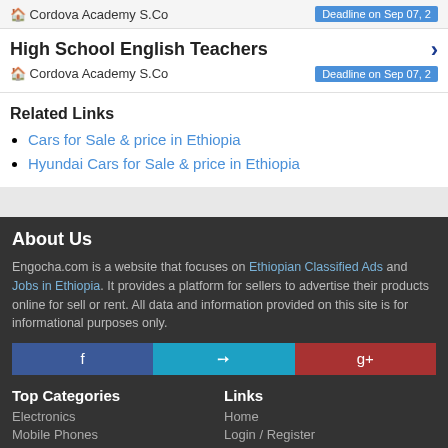🏠 Cordova Academy S.Co   Deadline on Sep 07, 2
High School English Teachers
🏠 Cordova Academy S.Co   Deadline on Sep 07, 2
Related Links
Cars for Sale & price in Ethiopia
Hyundai Cars for Sale & price in Ethiopia
About Us
Engocha.com is a website that focuses on Ethiopian Classified Ads and Jobs in Ethiopia. It provides a platform for sellers to advertise their products online for sell or rent. All data and information provided on this site is for informational purposes only.
Top Categories
Electronics
Mobile Phones
Links
Home
Login / Register